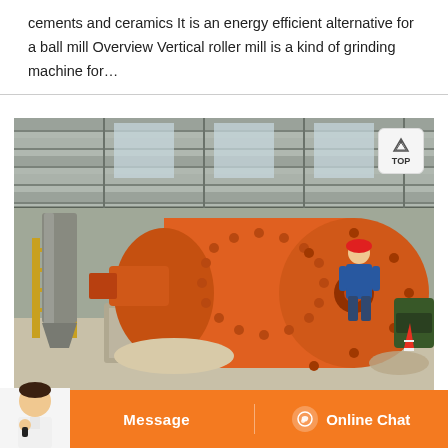cements and ceramics It is an energy efficient alternative for a ball mill Overview Vertical roller mill is a kind of grinding machine for…
[Figure (photo): Industrial ball mill inside a large factory/warehouse setting. A large orange cylindrical ball mill dominates the center of the image, mounted on a concrete base. A worker in blue shirt and red hard hat stands to the right of the mill. Yellow metal staircase and support structures visible on the left. Steel roof with skylights above. Construction materials and equipment visible in background.]
Message   Online Chat